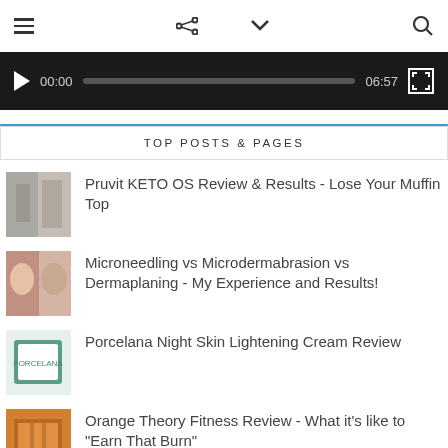Navigation bar with hamburger menu, share icon, dropdown arrow, and search icon
[Figure (screenshot): Video player bar showing play button, time 00:00, progress bar, duration 06:57, and fullscreen button on dark background]
TOP POSTS & PAGES
Pruvit KETO OS Review & Results - Lose Your Muffin Top
Microneedling vs Microdermabrasion vs Dermaplaning - My Experience and Results!
Porcelana Night Skin Lightening Cream Review
Orange Theory Fitness Review - What it's like to "Earn That Burn"